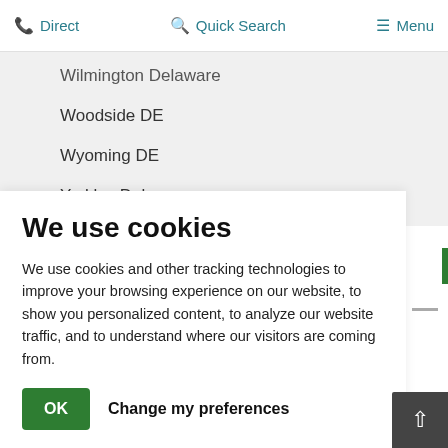Direct | Quick Search | Menu
Wilmington Delaware
Woodside DE
Wyoming DE
Yorklyn Delaware
We use cookies
We use cookies and other tracking technologies to improve your browsing experience on our website, to show you personalized content, to analyze our website traffic, and to understand where our visitors are coming from.
OK | Change my preferences